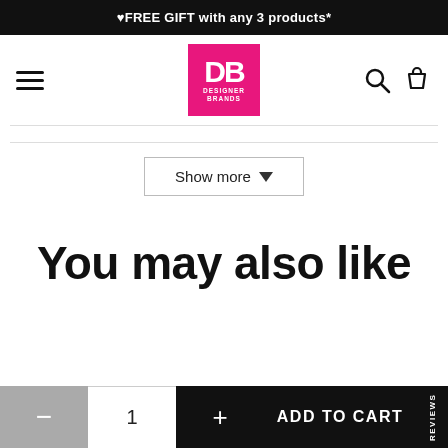♥FREE GIFT with any 3 products*
[Figure (logo): Designer Brands DB logo - pink square with white DB letters and DESIGNER BRANDS text]
Show more ▼
You may also like
— 1 + ADD TO CART REVIEWS